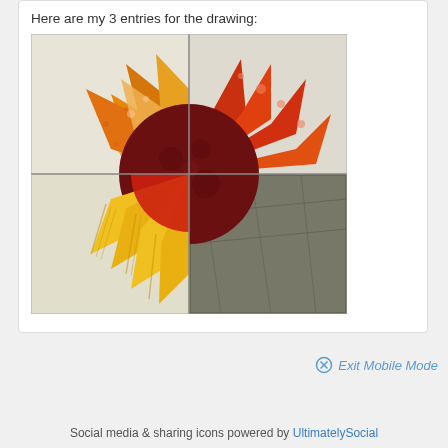Here are my 3 entries for the drawing:
[Figure (photo): A sunflower quilt block made from four quadrant pieces showing patchwork petals in yellow, orange, and red with a dark red circular center, assembled on a stone/concrete background]
Exit Mobile Mode
Social media & sharing icons powered by UltimatelySocial